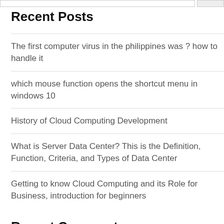Recent Posts
The first computer virus in the philippines was ? how to handle it
which mouse function opens the shortcut menu in windows 10
History of Cloud Computing Development
What is Server Data Center? This is the Definition, Function, Criteria, and Types of Data Center
Getting to know Cloud Computing and its Role for Business, introduction for beginners
Recent Comments
A WordPress Commenter on Hello world!